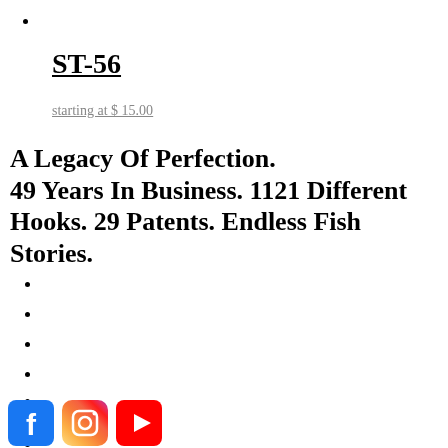ST-56
starting at $ 15.00
A Legacy Of Perfection. 49 Years In Business. 1121 Different Hooks. 29 Patents. Endless Fish Stories.
[Figure (logo): Social media icons: Facebook (blue), Instagram (gradient), YouTube (red)]